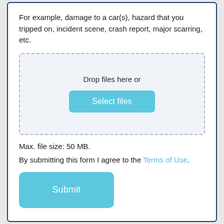For example, damage to a car(s), hazard that you tripped on, incident scene, crash report, major scarring, etc.
[Figure (other): File upload drop zone with 'Drop files here or' label and a 'Select files' button]
Max. file size: 50 MB.
By submitting this form I agree to the Terms of Use.
[Figure (other): Submit button]